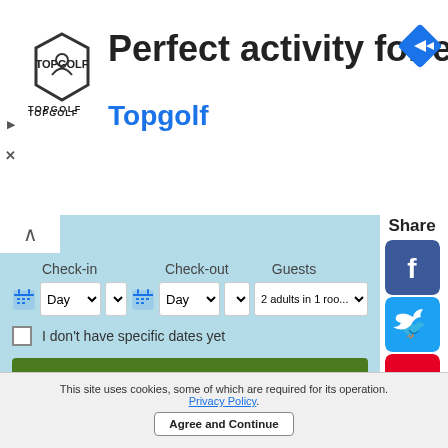[Figure (screenshot): Topgolf advertisement banner with logo, headline 'Perfect activity for everyone', brand name 'Topgolf', navigation arrow icon, play and close icons]
Share
[Figure (screenshot): Social share buttons: Facebook, Twitter, Pinterest, Tumblr, Reddit, WhatsApp, Messenger]
[Figure (screenshot): Hotel search widget with Check-in, Check-out, Guests fields, checkbox 'I don't have specific dates yet', and green Search button]
This site uses cookies, some of which are required for its operation. Privacy Policy. Agree and Continue